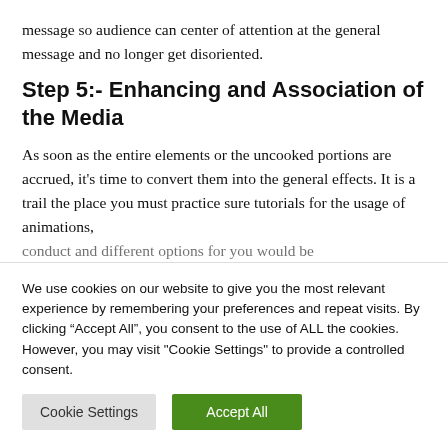message so audience can center of attention at the general message and no longer get disoriented.
Step 5:- Enhancing and Association of the Media
As soon as the entire elements or the uncooked portions are accrued, it’s time to convert them into the general effects. It is a trail the place you must practice sure tutorials for the usage of animations, conduct and different options for you would be
We use cookies on our website to give you the most relevant experience by remembering your preferences and repeat visits. By clicking “Accept All”, you consent to the use of ALL the cookies. However, you may visit "Cookie Settings" to provide a controlled consent.